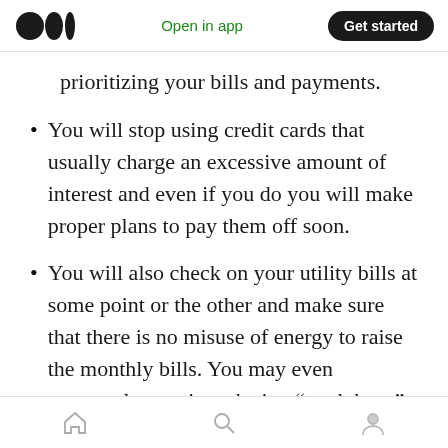Open in app | Get started
prioritizing your bills and payments.
You will stop using credit cards that usually charge an excessive amount of interest and even if you do you will make proper plans to pay them off soon.
You will also check on your utility bills at some point or the other and make sure that there is no misuse of energy to raise the monthly bills. You may even contemplate on introducing “earth hour” at your office premises if required.
Home | Search | Profile